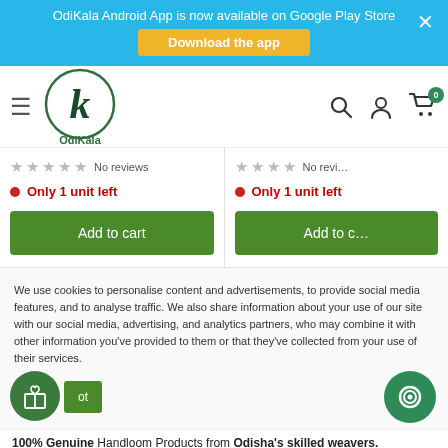OdiKala Android App is now available on Google Play Store — Download the app
[Figure (logo): OdiKala logo: circle with stylized K letter in dark green, text OdiKala below]
No reviews
Only 1 unit left
Add to cart
No revi...
Only 1 unit left
Add to c...
We use cookies to personalise content and advertisements, to provide social media features, and to analyse traffic. We also share information about your use of our site with our social media, advertising, and analytics partners, who may combine it with other information you've provided to them or that they've collected from your use of their services.
100% Genuine Handloom Products from Odisha's skilled weavers.